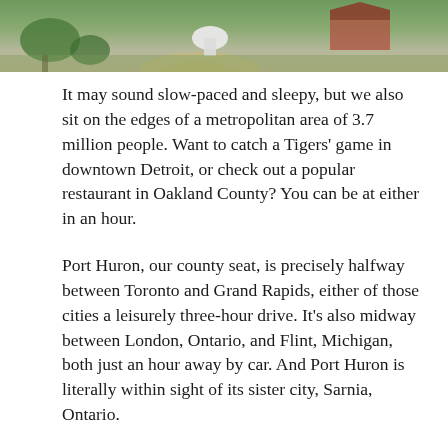[Figure (photo): Aerial view of a lighthouse and surrounding grounds with a red-roofed building, green grass, sandy path, and trees.]
It may sound slow-paced and sleepy, but we also sit on the edges of a metropolitan area of 3.7 million people. Want to catch a Tigers' game in downtown Detroit, or check out a popular restaurant in Oakland County? You can be at either in an hour.
Port Huron, our county seat, is precisely halfway between Toronto and Grand Rapids, either of those cities a leisurely three-hour drive. It's also midway between London, Ontario, and Flint, Michigan, both just an hour away by car. And Port Huron is literally within sight of its sister city, Sarnia, Ontario.
Nothing defines St. Clair County more than our famously blue water.